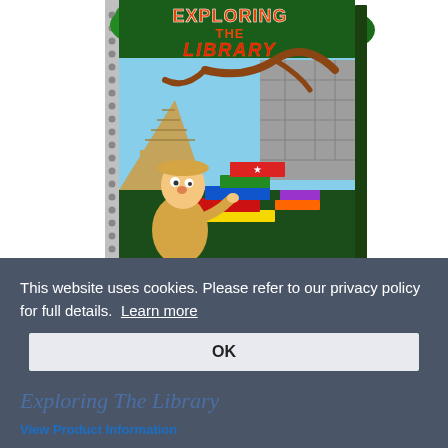[Figure (illustration): Book cover of 'Exploring The Library' showing a cartoon explorer in a tan hat and jacket surrounded by colorful stacked books, with a jungle/Mayan pyramid background and green border. The title is in large red/orange letters on a green background at the top.]
This website uses cookies. Please refer to our privacy policy for full details. Learn more
OK
Exploring The Library
View Product Information